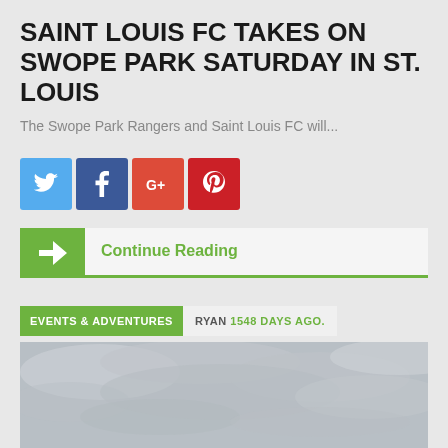SAINT LOUIS FC TAKES ON SWOPE PARK SATURDAY IN ST. LOUIS
The Swope Park Rangers and Saint Louis FC will...
[Figure (other): Social media share buttons: Twitter (blue), Facebook (dark blue), Google+ (red), Pinterest (dark red)]
Continue Reading
EVENTS & ADVENTURES  RYAN  1548 DAYS AGO.
[Figure (photo): A large luxury yacht on the ocean with a person standing on the deck. Overcast cloudy sky in the background, sparkling water visible.]